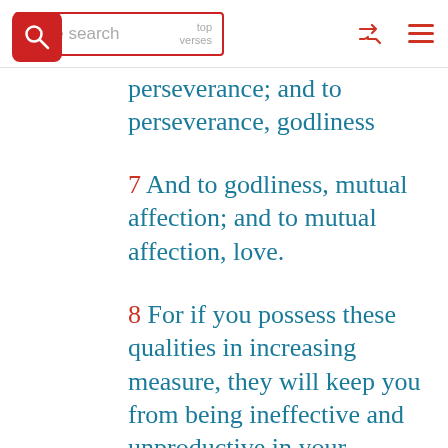Bible search | top verses
perseverance; and to perseverance, godliness
7 And to godliness, mutual affection; and to mutual affection, love.
8 For if you possess these qualities in increasing measure, they will keep you from being ineffective and unproductive in your knowledge of our Lord Jesus Christ.
9 But if any of you do not have them, you are nearsighted and blind, and you have forgotten that you have been cleansed from your past sins.